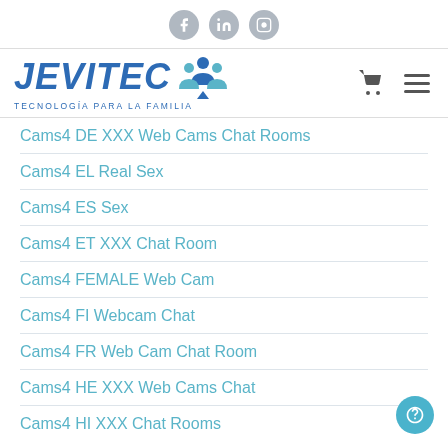Social icons: Facebook, LinkedIn, Instagram
[Figure (logo): JEVITEC logo with tagline TECNOLOGÍA PARA LA FAMILIA and shopping cart / menu icons]
Cams4 DE XXX Web Cams Chat Rooms
Cams4 EL Real Sex
Cams4 ES Sex
Cams4 ET XXX Chat Room
Cams4 FEMALE Web Cam
Cams4 FI Webcam Chat
Cams4 FR Web Cam Chat Room
Cams4 HE XXX Web Cams Chat
Cams4 HI XXX Chat Rooms